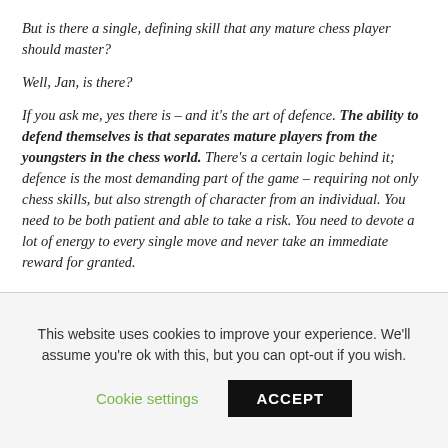But is there a single, defining skill that any mature chess player should master?
Well, Jan, is there?
If you ask me, yes there is – and it's the art of defence. The ability to defend themselves is that separates mature players from the youngsters in the chess world. There's a certain logic behind it; defence is the most demanding part of the game – requiring not only chess skills, but also strength of character from an individual. You need to be both patient and able to take a risk. You need to devote a lot of energy to every single move and never take an immediate reward for granted.
This website uses cookies to improve your experience. We'll assume you're ok with this, but you can opt-out if you wish.
Cookie settings
ACCEPT